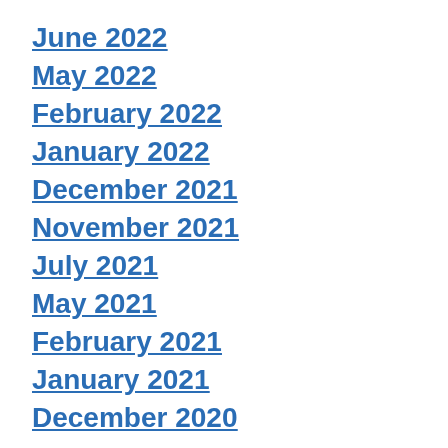June 2022
May 2022
February 2022
January 2022
December 2021
November 2021
July 2021
May 2021
February 2021
January 2021
December 2020